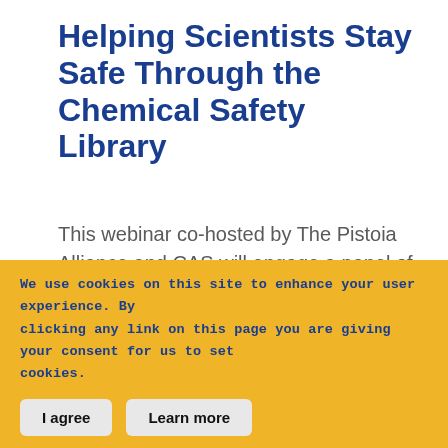Helping Scientists Stay Safe Through the Chemical Safety Library
This webinar co-hosted by The Pistoia Alliance and CAS will engage a panel of experts to highlight how scientists and research organizations can reduce the risk of adverse chemical safety events in their
We use cookies on this site to enhance your user experience. By clicking any link on this page you are giving your consent for us to set cookies.
I agree   Learn more